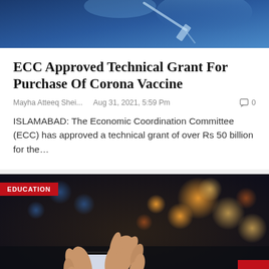[Figure (photo): Top portion of a photo showing a syringe/vaccine vial with blue background]
ECC Approved Technical Grant For Purchase Of Corona Vaccine
Mayha Atteeq Shei...    Aug 31, 2021, 5:59 Pm     0
ISLAMABAD: The Economic Coordination Committee (ECC) has approved a technical grant of over Rs 50 billion for the…
[Figure (photo): Person using a smartphone, with bokeh lights in the background. EDUCATION badge in top-left corner.]